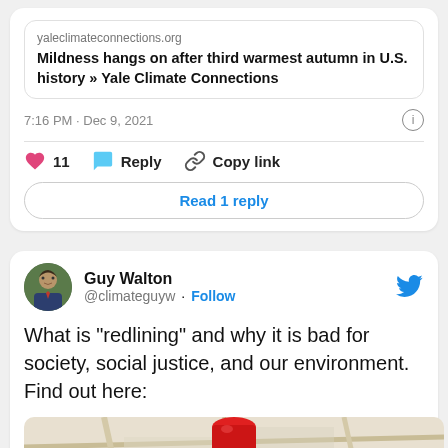yaleclimateconnections.org
Mildness hangs on after third warmest autumn in U.S. history » Yale Climate Connections
7:16 PM · Dec 9, 2021
11  Reply  Copy link
Read 1 reply
Guy Walton
@climateguyw · Follow
What is "redlining" and why it is bad for society, social justice, and our environment. Find out here:
[Figure (photo): Map image with a red pushpin/thumbtack placed on it, partially visible at bottom of page]